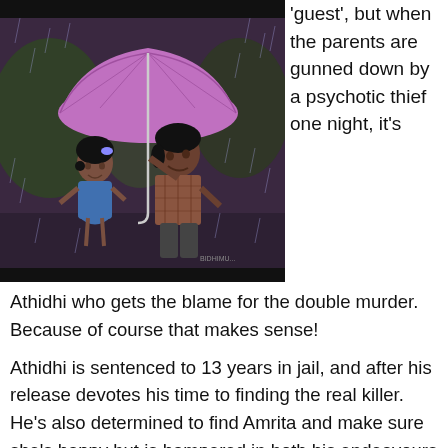[Figure (photo): Movie still showing two figures (a small girl and an older child or young person) standing together under a pink/purple umbrella in the rain. The scene appears to be from an Indian film.]
'guest', but when the parents are gunned down by a psychotic thief one night, it's Athidhi who gets the blame for the double murder.  Because of course that makes sense!
Athidhi is sentenced to 13 years in jail, and after his release devotes his time to finding the real killer. He's also determined to find Amrita and make sure she's happy but is hampered in both his endeavours by a major lack of information about both the identity of the murderer and the location of Amrita.  On the plus side he does have a picture of the killer since the thief left a wallet containing his photograph behind at the scene of the crime, but there are no